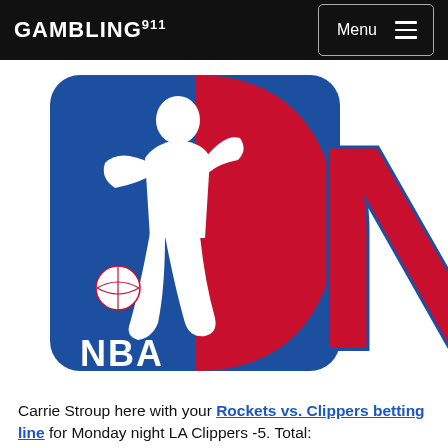GAMBLING911 Menu
[Figure (logo): NBA logo — white silhouette of basketball player dribbling on blue and red background, with 'NBA' text at bottom left, and large red 'NB' letters on right side]
Carrie Stroup here with your Rockets vs. Clippers betting line for Monday night LA Clippers -5. Total: